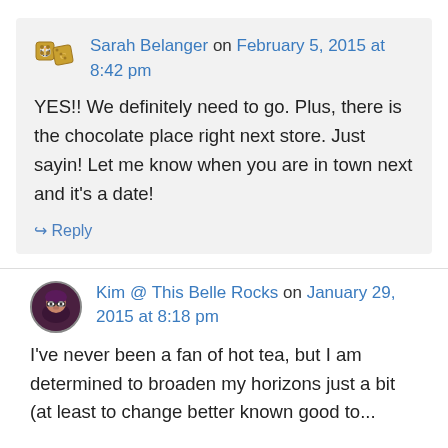Sarah Belanger on February 5, 2015 at 8:42 pm
YES!! We definitely need to go. Plus, there is the chocolate place right next store. Just sayin! Let me know when you are in town next and it's a date!
↳ Reply
Kim @ This Belle Rocks on January 29, 2015 at 8:18 pm
I've never been a fan of hot tea, but I am determined to broaden my horizons just a bit (at least to change better known good to...